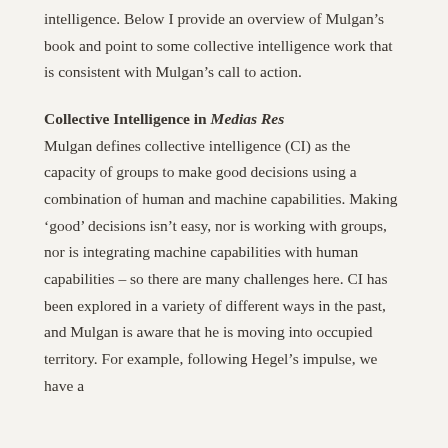intelligence. Below I provide an overview of Mulgan's book and point to some collective intelligence work that is consistent with Mulgan's call to action.
Collective Intelligence in Medias Res
Mulgan defines collective intelligence (CI) as the capacity of groups to make good decisions using a combination of human and machine capabilities. Making 'good' decisions isn't easy, nor is working with groups, nor is integrating machine capabilities with human capabilities – so there are many challenges here. CI has been explored in a variety of different ways in the past, and Mulgan is aware that he is moving into occupied territory. For example, following Hegel's impulse, we have a